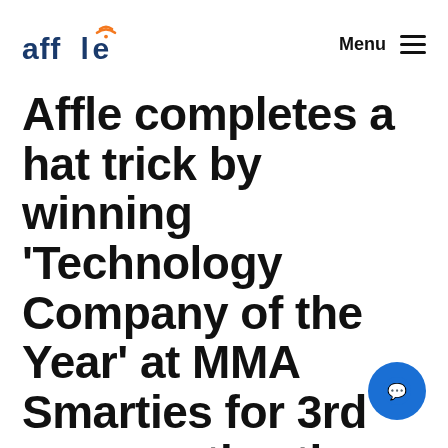affle  Menu
Affle completes a hat trick by winning 'Technology Company of the Year' at MMA Smarties for 3rd consecutive time, together with 7 oth top Awards &